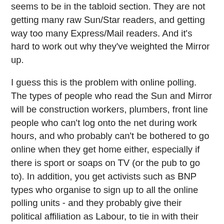seems to be in the tabloid section. They are not getting many raw Sun/Star readers, and getting way too many Express/Mail readers. And it's hard to work out why they've weighted the Mirror up.
I guess this is the problem with online polling. The types of people who read the Sun and Mirror will be construction workers, plumbers, front line people who can't log onto the net during work hours, and who probably can't be bothered to go online when they get home either, especially if there is sport or soaps on TV (or the pub to go to). In addition, you get activists such as BNP types who organise to sign up to all the online polling units - and they probably give their political affiliation as Labour, to tie in with their line, "I used to vote Labour, but..." Hence the reason YouGov ask them what newspaper they read (it's less likely they will fake that, and this may account for the number of Express/Mail respondants in the unweighted figures). You can see why YouGov are having a mare and weighting their respondants to correct for this.
My hunch (and that's all it is), is that the telephone pollsters